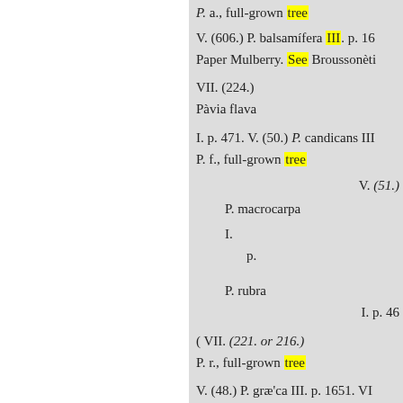P. a., full-grown tree
V. (606.) P. balsamifera III. p. 16
Paper Mulberry. See Broussonèti
VII. (224.)
Pàvia flava
I. p. 471. V. (50.) P. candicans III
P. f., full-grown tree
V. (51.)
P. macrocarpa
I.
p.
P. rubra
I. p. 46
( VII. (221. or 216.)
P. r., full-grown tree
V. (48.) P. græ'ca III. p. 1651. VI
P. r. hùmilis péndula - I. p. 470. V
Pea Tree. See Cytisus Labúrnum